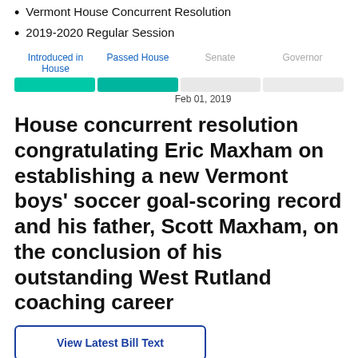Vermont House Concurrent Resolution
2019-2020 Regular Session
[Figure (infographic): Legislative progress bar showing four stages: Introduced in House (filled green), Passed House (filled teal), Senate (unfilled/grey), Governor (unfilled/grey). Date label: Feb 01, 2019 under Passed House.]
House concurrent resolution congratulating Eric Maxham on establishing a new Vermont boys' soccer goal-scoring record and his father, Scott Maxham, on the conclusion of his outstanding West Rutland coaching career
View Latest Bill Text
Sign In to Follow